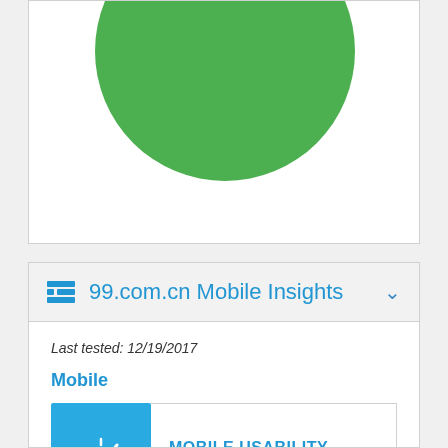[Figure (illustration): Partial green circle visible at top of white card, cropped at top]
99.com.cn Mobile Insights
Last tested: 12/19/2017
Mobile
[Figure (illustration): Speedometer/gauge icon in blue square]
MOBILE USABILITY